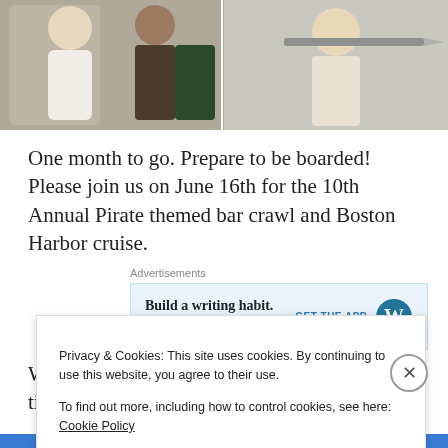[Figure (photo): Two side-by-side photos: left shows people at a party, right shows a person holding a prop sword/knife at a pirate-themed event.]
One month to go. Prepare to be boarded! Please join us on June 16th for the 10th Annual Pirate themed bar crawl and Boston Harbor cruise.
Advertisements
[Figure (screenshot): Advertisement banner: 'Build a writing habit. Post on the go.' with 'GET THE APP' button and WordPress logo.]
We’re currently at about 70% sold. Once our tickets are
Privacy & Cookies: This site uses cookies. By continuing to use this website, you agree to their use.
To find out more, including how to control cookies, see here: Cookie Policy
Close and accept
Advertisements